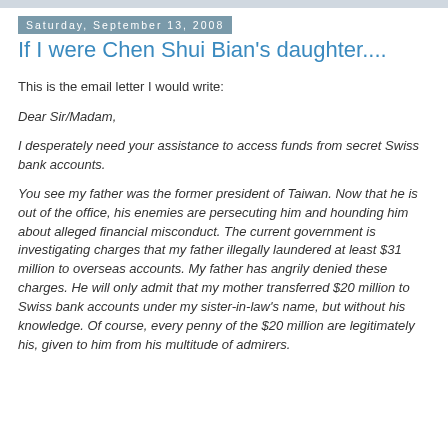Saturday, September 13, 2008
If I were Chen Shui Bian's daughter....
This is the email letter I would write:
Dear Sir/Madam,
I desperately need your assistance to access funds from secret Swiss bank accounts.
You see my father was the former president of Taiwan. Now that he is out of the office, his enemies are persecuting him and hounding him about alleged financial misconduct. The current government is investigating charges that my father illegally laundered at least $31 million to overseas accounts. My father has angrily denied these charges. He will only admit that my mother transferred $20 million to Swiss bank accounts under my sister-in-law's name, but without his knowledge. Of course, every penny of the $20 million are legitimately his, given to him from his multitude of admirers.